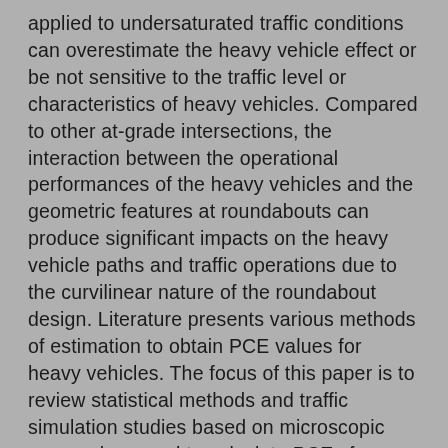applied to undersaturated traffic conditions can overestimate the heavy vehicle effect or be not sensitive to the traffic level or characteristics of heavy vehicles. Compared to other at-grade intersections, the interaction between the operational performances of the heavy vehicles and the geometric features at roundabouts can produce significant impacts on the heavy vehicle paths and traffic operations due to the curvilinear nature of the roundabout design. Literature presents various methods of estimation to obtain PCE values for heavy vehicles. The focus of this paper is to review statistical methods and traffic simulation studies based on microscopic approaches used to calculate PCEs for heavy vehicles driving roundabouts. Effects on capacity and estimates of PCEs based on models currently employed in roundabout analysis are also compared. The results obtained in this study aim at providing an overview of the existing knowledge concerning the estimation of PCEs at roundabouts and can represent a guideline for transportation engineers in planning, design and capacity analysis of